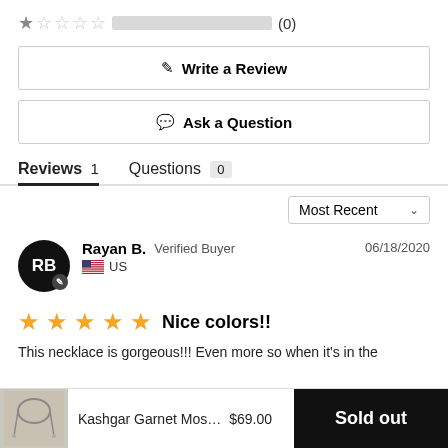[Figure (other): Star rating row with 1 star highlighted grey, a grey progress bar, and (0) count]
✎  Write a Review
💬  Ask a Question
Reviews 1    Questions 0
Most Recent ∨
Rayan B.  Verified Buyer    06/18/2020
🇺🇸 US
★★★★★  Nice colors!!
This necklace is gorgeous!!! Even more so when it's in the
Kashgar Garnet Mos…  $69.00    Sold out